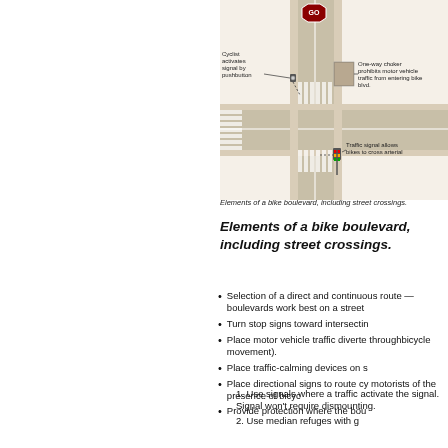[Figure (engineering-diagram): Engineering diagram of a bike boulevard intersection showing a cyclist activating a signal by pushbutton, a one-way choker prohibiting motor vehicle traffic from entering bike boulevard, and a traffic signal allowing bikes to cross arterial.]
Elements of a bike boulevard, including street crossings.
Elements of a bike boulevard, including street crossings.
Selection of a direct and continuous route — boulevards work best on a street
Turn stop signs toward intersecting
Place motor vehicle traffic diverte... throughbicycle movement).
Place traffic-calming devices on s
Place directional signs to route cy... motorists of the presence of bicyc
Provide protection where the bou
1. Use signals where a traffic... activate the signal. Signal... won't require dismounting.
2. Use median refuges with g